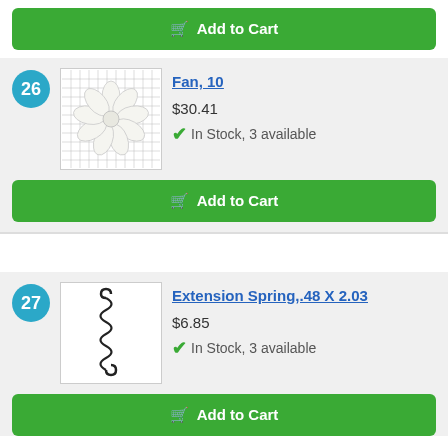[Figure (photo): Partial view of a product image at top of page (cropped)]
Add to Cart
26
[Figure (photo): White plastic fan blade (10-blade) on grid background]
Fan, 10
$30.41
In Stock, 3 available
Add to Cart
27
[Figure (photo): Black metal extension spring on white background]
Extension Spring,.48 X 2.03
$6.85
In Stock, 3 available
Add to Cart